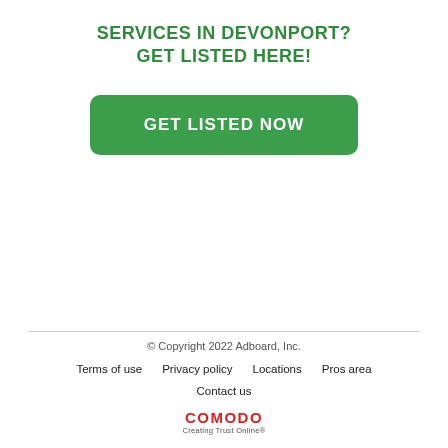SERVICES IN DEVONPORT?
GET LISTED HERE!
[Figure (other): Green rounded button with white uppercase text reading GET LISTED NOW]
© Copyright 2022 Adboard, Inc.
Terms of use   Privacy policy   Locations   Pros area
Contact us
COMODO Creating Trust Online®